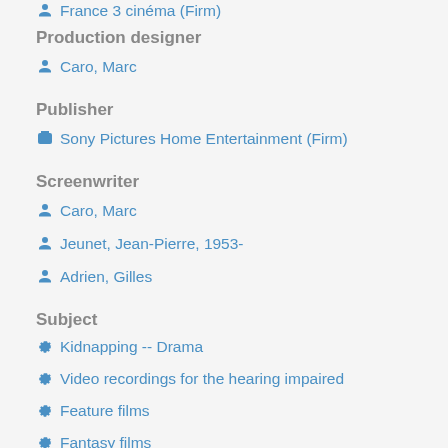France 3 cinéma (Firm)
Production designer
Caro, Marc
Publisher
Sony Pictures Home Entertainment (Firm)
Screenwriter
Caro, Marc
Jeunet, Jean-Pierre, 1953-
Adrien, Gilles
Subject
Kidnapping -- Drama
Video recordings for the hearing impaired
Feature films
Fantasy films
Dreams -- Drama
Mad scientist films
Steampunk films